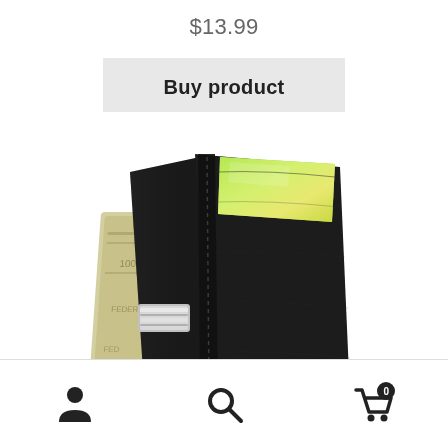$13.99
Buy product
[Figure (photo): A black leather money clip wallet with a silver metal clip, holding US dollar bills on the left side and a green credit card visible in the right pocket, photographed from above at an angle against a white background.]
[Figure (infographic): Bottom navigation bar with three icons: a person/user icon on the left, a search/magnifying glass icon in the center, and a shopping cart icon with a '0' badge on the right.]